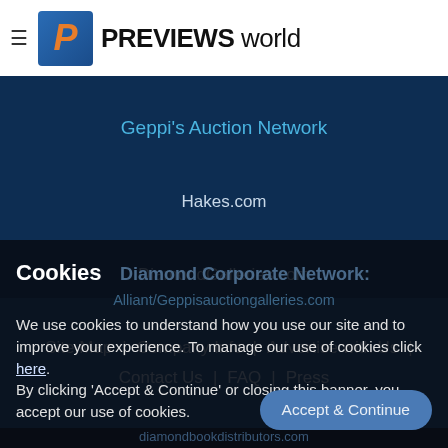PREVIEWS world
Geppi's Auction Network
Hakes.com
DiamondGalleries.com
Site Map | Company Info | Advertise with Us | Contact Us | FAQ | Press
Cookies  Diamond Corporate Network:
We use cookies to understand how you use our site and to improve your experience. To manage our use of cookies click here.
By clicking 'Accept & Continue' or closing this banner, you accept our use of cookies.
© Copyright 2022, Diamond Comic Distributors, All Rights Reserved  |  Privacy Policy